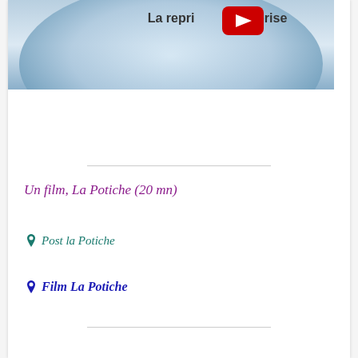[Figure (screenshot): YouTube video thumbnail showing a blue gradient background with a YouTube play button (red rectangle with white triangle) and text 'La reprise d'entreprise' partially visible]
Un film, La Potiche (20 mn)
Post la Potiche
Film La Potiche